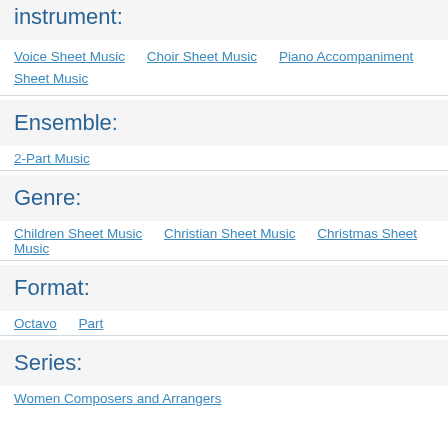instrument:
Voice Sheet Music    Choir Sheet Music    Piano Accompaniment Sheet Music
Ensemble:
2-Part Music
Genre:
Children Sheet Music    Christian Sheet Music    Christmas Sheet Music
Format:
Octavo    Part
Series:
Women Composers and Arrangers